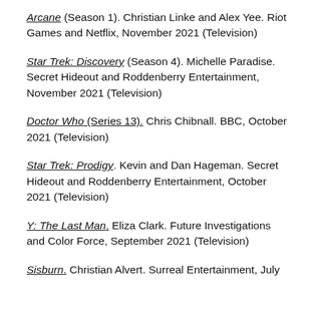Arcane (Season 1). Christian Linke and Alex Yee. Riot Games and Netflix, November 2021 (Television)
Star Trek: Discovery (Season 4). Michelle Paradise. Secret Hideout and Roddenberry Entertainment, November 2021 (Television)
Doctor Who (Series 13). Chris Chibnall. BBC, October 2021 (Television)
Star Trek: Prodigy. Kevin and Dan Hageman. Secret Hideout and Roddenberry Entertainment, October 2021 (Television)
Y: The Last Man. Eliza Clark. Future Investigations and Color Force, September 2021 (Television)
Sisburn. Christian Alvert. Surreal Entertainment, July...